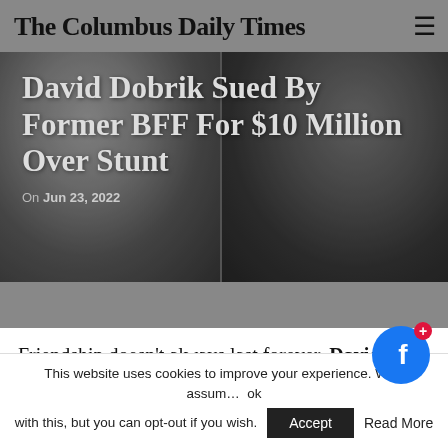The Columbus Daily Times
[Figure (photo): Hero image showing two men side by side with article headline overlaid. Left person and right person facing slightly toward camera, dark background.]
David Dobrik Sued By Former BFF For $10 Million Over Stunt
On Jun 23, 2022
Friendship doesn't always last forever. David Dobrik is being sued by former friend D
This website uses cookies to improve your experience. We'll assume you're ok with this, but you can opt-out if you wish.